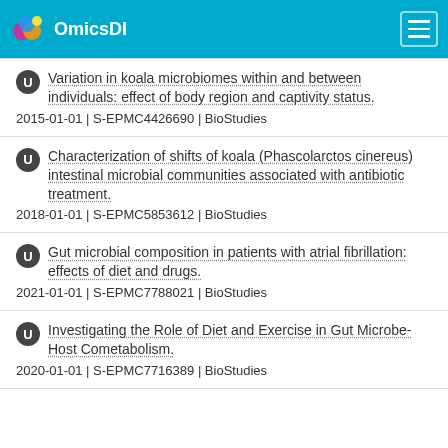OmicsDI
Variation in koala microbiomes within and between individuals: effect of body region and captivity status.
2015-01-01 | S-EPMC4426690 | BioStudies
Characterization of shifts of koala (Phascolarctos cinereus) intestinal microbial communities associated with antibiotic treatment.
2018-01-01 | S-EPMC5853612 | BioStudies
Gut microbial composition in patients with atrial fibrillation: effects of diet and drugs.
2021-01-01 | S-EPMC7788021 | BioStudies
Investigating the Role of Diet and Exercise in Gut Microbe-Host Cometabolism.
2020-01-01 | S-EPMC7716389 | BioStudies